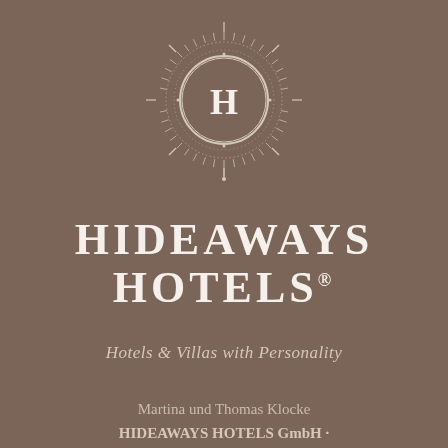[Figure (logo): Circular ornate sun/mandala logo with letter H in center, white on brown background]
HIDEAWAYS HOTELS®
Hotels & Villas with Personality
Martina und Thomas Klocke
HIDEAWAYS HOTELS GmbH ·